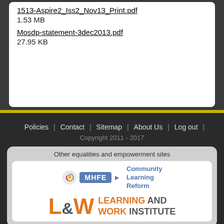1513-Aspire2_Iss2_Nov13_Print.pdf
1.53 MB
Mosdp-statement-3dec2013.pdf
27.95 KB
Policies | Contact | Sitemap | About Us | Log out
Copyright 2011 - 2017
Other equalities and empowerment sites
[Figure (logo): MHFE logo with spiral icon and blue badge, Community Learning Reform text]
[Figure (logo): L&W Learning and Work Institute logo in orange and grey]